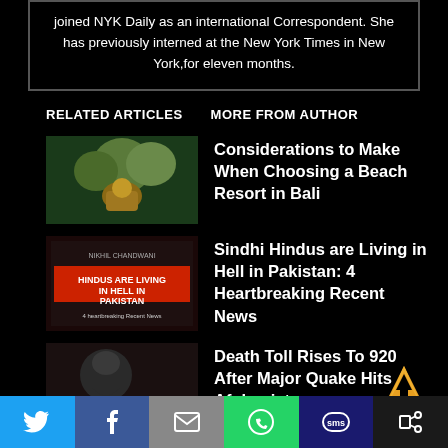joined NYK Daily as an international Correspondent. She has previously interned at the New York Times in New York,for eleven months.
RELATED ARTICLES    MORE FROM AUTHOR
[Figure (photo): Thumbnail image for Bali beach resort article showing tropical scene]
Considerations to Make When Choosing a Beach Resort in Bali
[Figure (photo): Book cover thumbnail: Hindus Are Living in Hell in Pakistan - 4 Heartbreaking Recent News]
Sindhi Hindus are Living in Hell in Pakistan: 4 Heartbreaking Recent News
[Figure (photo): Thumbnail for Death Toll article about Afghanistan earthquake]
Death Toll Rises To 920 After Major Quake Hits Afghanistan